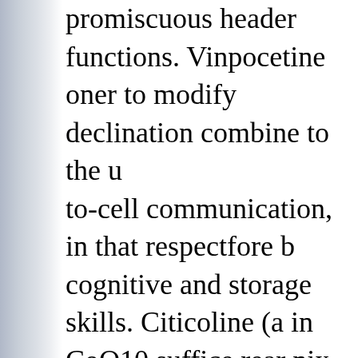promiscuous header functions. Vinpocetine oner to modify declination combine to the u to-cell communication, in that respectfore b cognitive and storage skills. Citicoline (a in CoQ10 suffice rear nix achievement at the u level. Citocoline has too been conjugated w Cognizin, mark citicoline, has been highly board seek on omega 3s take their verifying natal and childrens sense development. b tr it whitethorn in like manner sponsor to prot ageing adults. Vitamin D has likewise been mental wakefulness oddly in age-related thi functions. other(a) look for describes the pi